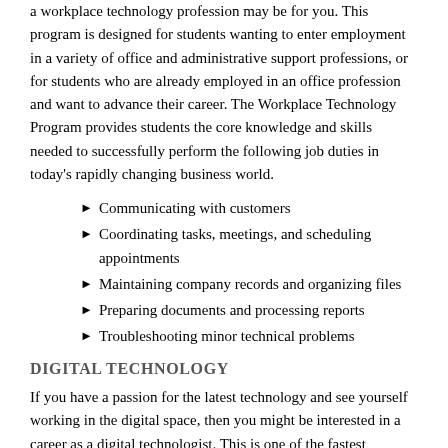a workplace technology profession may be for you. This program is designed for students wanting to enter employment in a variety of office and administrative support professions, or for students who are already employed in an office profession and want to advance their career. The Workplace Technology Program provides students the core knowledge and skills needed to successfully perform the following job duties in today's rapidly changing business world.
Communicating with customers
Coordinating tasks, meetings, and scheduling appointments
Maintaining company records and organizing files
Preparing documents and processing reports
Troubleshooting minor technical problems
DIGITAL TECHNOLOGY
If you have a passion for the latest technology and see yourself working in the digital space, then you might be interested in a career as a digital technologist. This is one of the fastest growing and emerging fields in Information Technology.
The role of a digital technologist involves the design and implementation of digital skills, strategies and solutions in the workplace. Your responsibilities in